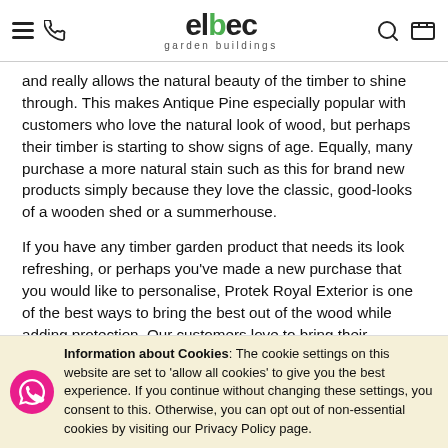elbec garden buildings — navigation header with menu, phone, search, cart icons
and really allows the natural beauty of the timber to shine through. This makes Antique Pine especially popular with customers who love the natural look of wood, but perhaps their timber is starting to show signs of age. Equally, many purchase a more natural stain such as this for brand new products simply because they love the classic, good-looks of a wooden shed or a summerhouse.
If you have any timber garden product that needs its look refreshing, or perhaps you've made a new purchase that you would like to personalise, Protek Royal Exterior is one of the best ways to bring the best out of the wood while adding protection. Our customers love to bring their gardens to life by painting their sheds, summerhouses, log cabins, fencing and gates. But we also hear from plenty who have used it to give their garden furniture, gazebos, arbours, garden
Information about Cookies: The cookie settings on this website are set to 'allow all cookies' to give you the best experience. If you continue without changing these settings, you consent to this. Otherwise, you can opt out of non-essential cookies by visiting our Privacy Policy page.